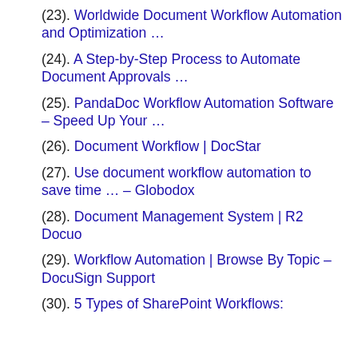(23). Worldwide Document Workflow Automation and Optimization …
(24). A Step-by-Step Process to Automate Document Approvals …
(25). PandaDoc Workflow Automation Software – Speed Up Your …
(26). Document Workflow | DocStar
(27). Use document workflow automation to save time … – Globodox
(28). Document Management System | R2 Docuo
(29). Workflow Automation | Browse By Topic – DocuSign Support
(30). 5 Types of SharePoint Workflows: Make Your life Easier with …